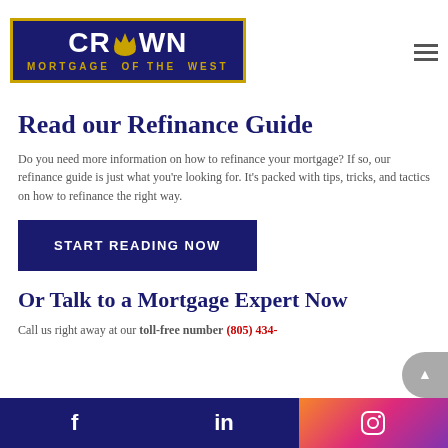[Figure (logo): Crown Mortgage of the West logo — dark navy rectangle with gold border, white bold text CROWN with a gold crown replacing the O, gold subtitle text MORTGAGE OF THE WEST]
Read our Refinance Guide
Do you need more information on how to refinance your mortgage? If so, our refinance guide is just what you're looking for. It's packed with tips, tricks, and tactics on how to refinance the right way.
START READING NOW
Or Talk to a Mortgage Expert Now
Call us right away at our toll-free number (805) 434-
f  in  [Instagram icon]